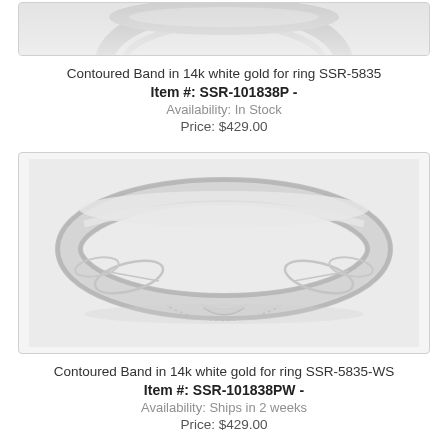[Figure (photo): Partial view of a white gold contoured band ring, cropped at top]
Contoured Band in 14k white gold for ring SSR-5835
Item #: SSR-101838P -
Availability: In Stock
Price: $429.00
[Figure (photo): White gold contoured band ring for SSR-5835-WS with floral/leaf engraving detail, viewed from front at angle, showing the notched setting area at bottom center]
Contoured Band in 14k white gold for ring SSR-5835-WS
Item #: SSR-101838PW -
Availability: Ships in 2 weeks
Price: $429.00